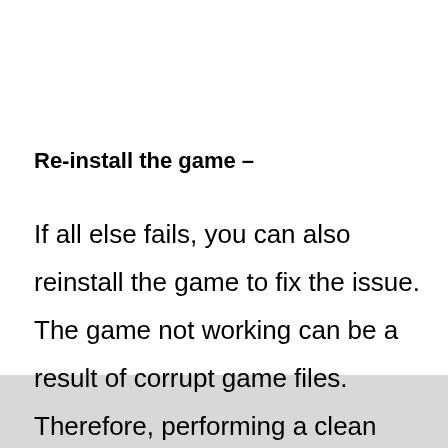Re-install the game –
If all else fails, you can also reinstall the game to fix the issue. The game not working can be a result of corrupt game files. Therefore, performing a clean